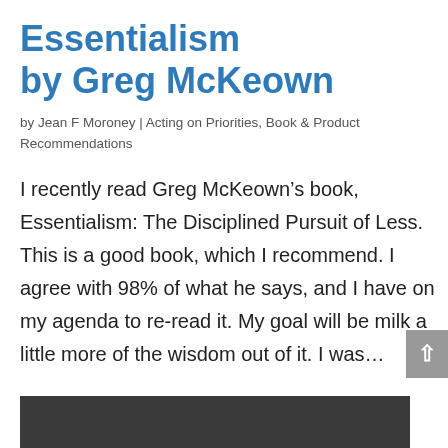Essentialism by Greg McKeown
by Jean F Moroney | Acting on Priorities, Book & Product Recommendations
I recently read Greg McKeown’s book, Essentialism: The Disciplined Pursuit of Less. This is a good book, which I recommend. I agree with 98% of what he says, and I have on my agenda to re-read it. My goal will be milk a little more of the wisdom out of it. I was…
[Figure (photo): Dark/black image strip at bottom of page, partially visible]